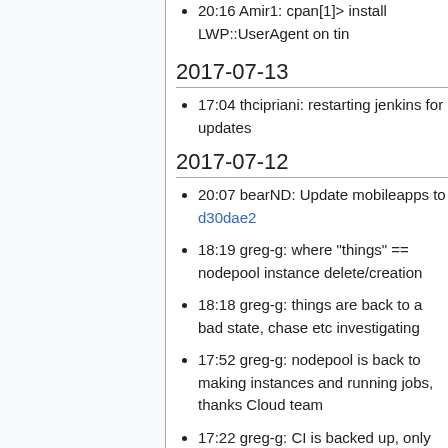20:16 Amir1: cpan[1]> install LWP::UserAgent on tin
2017-07-13
17:04 thcipriani: restarting jenkins for updates
2017-07-12
20:07 bearND: Update mobileapps to d30dae2
18:19 greg-g: where "things" == nodepool instance delete/creation
18:18 greg-g: things are back to a bad state, chase etc investigating
17:52 greg-g: nodepool is back to making instances and running jobs, thanks Cloud team
17:22 greg-g: CI is backed up, only one nodepoll instance running for the